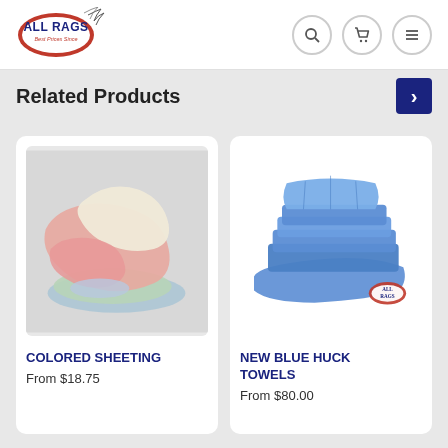[Figure (logo): All Rags logo with oval shape, red/blue text and eagle/feather graphic, tagline 'Best Prices Since']
Related Products
[Figure (photo): Pile of colorful used cloth rags in pink, cream, light green, and light blue colors on grey background - Colored Sheeting product]
COLORED SHEETING
From $18.75
[Figure (photo): Stack of blue huck towels folded neatly, with All Rags logo watermark, on white background - New Blue Huck Towels product]
NEW BLUE HUCK TOWELS
From $80.00